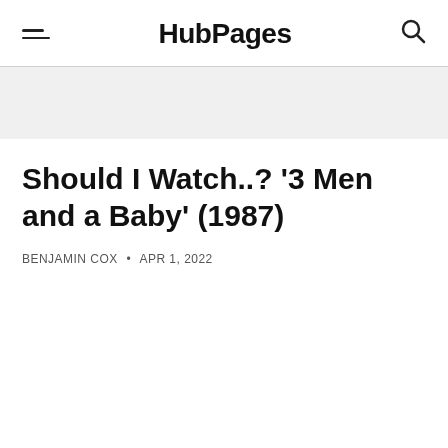HubPages
Should I Watch..? '3 Men and a Baby' (1987)
BENJAMIN COX • APR 1, 2022